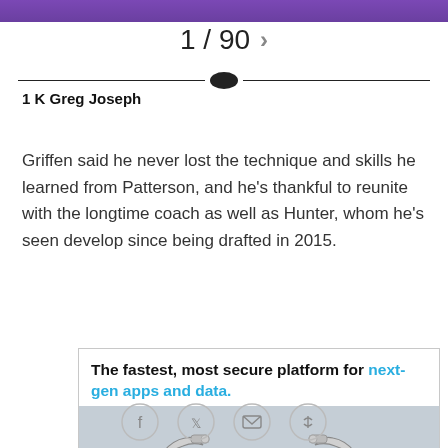[Figure (photo): Partial photo of a person wearing a purple jersey/shirt, cropped at the top of the page]
1 / 90 >
1 K Greg Joseph
Griffen said he never lost the technique and skills he learned from Patterson, and he's thankful to reunite with the longtime coach as well as Hunter, whom he's seen develop since being drafted in 2015.
[Figure (illustration): Advertisement: 'The fastest, most secure platform for next-gen apps and data.' with robotic arms illustration on grey background]
[Figure (other): Social sharing icons: Facebook, Twitter, Email, Link]